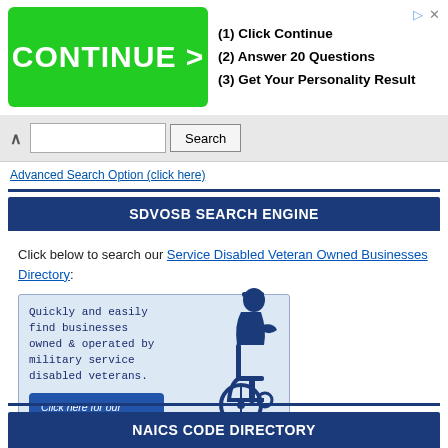[Figure (illustration): Advertisement banner: green CONTINUE > button on left, steps (1) Click Continue (2) Answer 20 Questions (3) Get Your Personality Result on right]
Search
Advanced Search Option (click here)
SDVOSB SEARCH ENGINE
Click below to search our Service Disabled Veteran Owned Businesses Directory:
[Figure (illustration): SDVOSB Search Engine banner image with text 'Quickly and easily find businesses owned & operated by military service disabled veterans.' and 'Click here for our SDVOSB Search Engine' button, with silhouette of a veteran in wheelchair]
NAICS CODE DIRECTORY